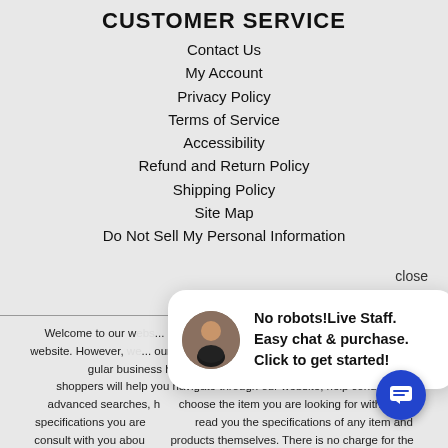CUSTOMER SERVICE
Contact Us
My Account
Privacy Policy
Terms of Service
Accessibility
Refund and Return Policy
Shipping Policy
Site Map
Do Not Sell My Personal Information
close
[Figure (screenshot): Live chat popup with staff photo: 'No robots! Live Staff. Easy chat & purchase. Click to get started!']
Welcome to our w... on our website (o... company our size t... website. However,... our disability service phone line at 1-000-000-0000 during regular business hours and one of our kind and friendly personal shoppers will help you navigate through our website, help conduct advanced searches, help choose the item you are looking for with the specifications you are... read you the specifications of any item and consult with you abou... products themselves. There is no charge for the help of this personal shopper for anyone with a disability. Finally, your personal shopper will explain our